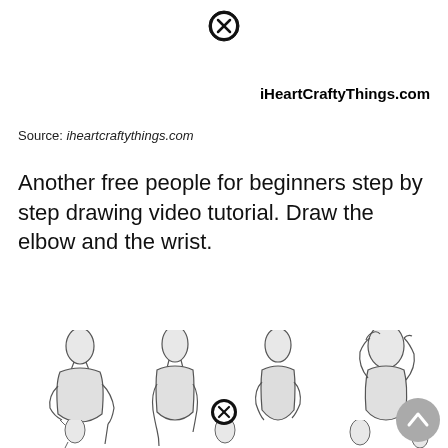[Figure (illustration): Close/dismiss button icon (circle with X) at top center of page]
iHeartCraftyThings.com
Source: iheartcraftythings.com
Another free people for beginners step by step drawing video tutorial. Draw the elbow and the wrist.
[Figure (illustration): Step-by-step drawing tutorial illustrations showing human body torso figures in various poses demonstrating how to draw elbows and wrists. Top row shows four figures: one with arm on hip, one standing straight, one with hands behind back, one with arms raised. Bottom row partially visible shows more figure poses.]
[Figure (illustration): Close/dismiss button icon (circle with X) at bottom center area]
[Figure (illustration): Scroll up button (circle with upward chevron) at bottom right]